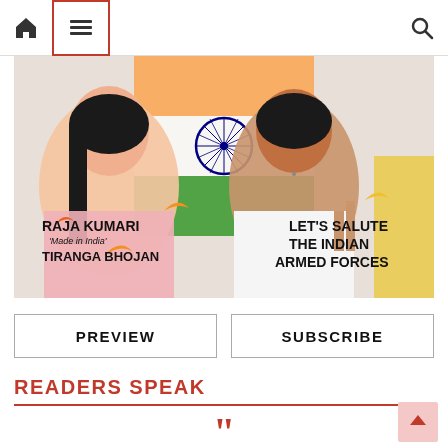Navigation bar with home, menu, and search icons
[Figure (photo): Magazine cover-style image showing two young people smiling with the Indian flag in the background, decorative birds in orange/gold, with text: RAJA KUMARI 'Made in India' TIRANGA BHOJAN on the left and LET'S SALUTE THE INDIAN ARMED FORCES on the right]
PREVIEW
SUBSCRIBE
READERS SPEAK
[Figure (illustration): Large red double quotation mark opening quote symbol]